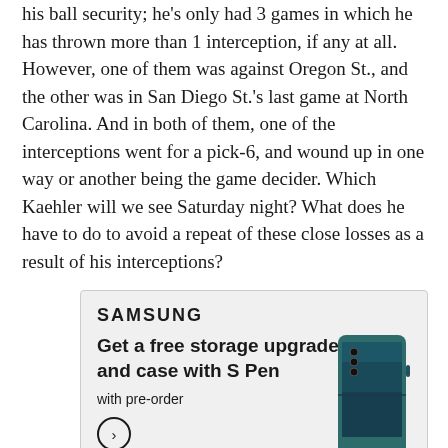his ball security; he's only had 3 games in which he has thrown more than 1 interception, if any at all. However, one of them was against Oregon St., and the other was in San Diego St.'s last game at North Carolina. And in both of them, one of the interceptions went for a pick-6, and wound up in one way or another being the game decider. Which Kaehler will we see Saturday night? What does he have to do to avoid a repeat of these close losses as a result of his interceptions?
[Figure (other): Samsung advertisement: Get a free storage upgrade and case with S Pen with pre-order. Shows Samsung Galaxy Z Fold phone and arrow button.]